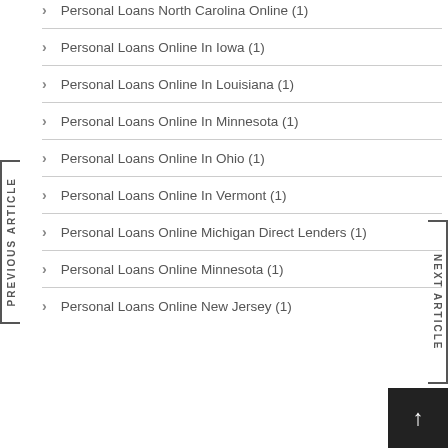Personal Loans North Carolina Online (1)
Personal Loans Online In Iowa (1)
Personal Loans Online In Louisiana (1)
Personal Loans Online In Minnesota (1)
Personal Loans Online In Ohio (1)
Personal Loans Online In Vermont (1)
Personal Loans Online Michigan Direct Lenders (1)
Personal Loans Online Minnesota (1)
Personal Loans Online New Jersey (1)